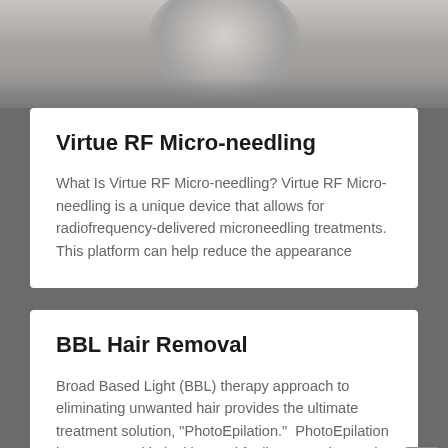[Figure (photo): Black and white photo of a person's face/neck area, cropped at the top]
Virtue RF Micro-needling
What Is Virtue RF Micro-needling? Virtue RF Micro-needling is a unique device that allows for radiofrequency-delivered microneedling treatments.  This platform can help reduce the appearance
BBL Hair Removal
Broad Based Light (BBL) therapy approach to eliminating unwanted hair provides the ultimate treatment solution, "PhotoEpilation."  PhotoEpilation leaves your skin looking and feeling smoother and